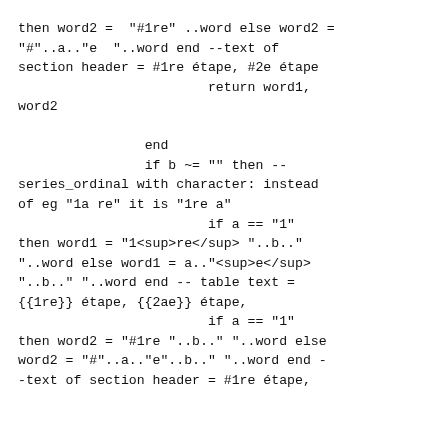then word2 = "#1re" ..word else word2 = "#"..a.."e  "..word end --text of section header = #1re étape, #2e étape
                        return word1, word2

                end
                if b ~= "" then -- series_ordinal with character: instead of eg "1a re" it is "1re a"
                        if a == "1" then word1 = "1<sup>re</sup> "..b.." "..word else word1 = a.."<sup>e</sup> "..b.." "..word end -- table text = {{1re}} étape, {{2ae}} étape,
                        if a == "1" then word2 = "#1re "..b.." "..word else word2 = "#"..a.."e"..b.." "..word end - -text of section header = #1re étape,